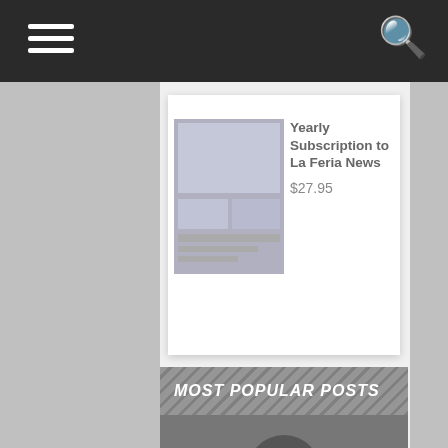Navigation bar with hamburger menu and search icon
[Figure (photo): Newspaper stack image for La Feria News yearly subscription product]
Yearly Subscription to La Feria News
$27.95
MOST POPULAR POSTS
[Figure (photo): Latin Pop Artist in patterned shirt sitting, black and white photo]
Local  News
Latin Pop Artist, Local Entrepreneur Credits STC For Giving Him The Tools For Success
[Figure (photo): Two men on stage, one receiving a flower lei garland, teal/blue background]
Local  News